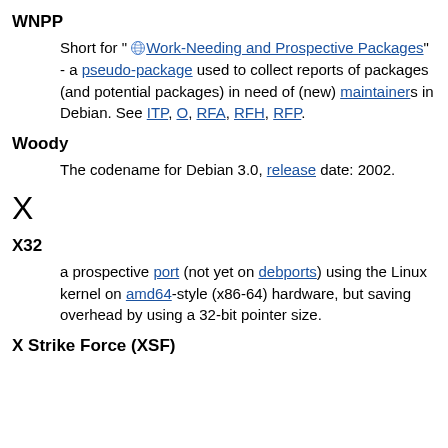WNPP
Short for " Work-Needing and Prospective Packages" - a pseudo-package used to collect reports of packages (and potential packages) in need of (new) maintainers in Debian. See ITP, O, RFA, RFH, RFP.
Woody
The codename for Debian 3.0, release date: 2002.
X
X32
a prospective port (not yet on debports) using the Linux kernel on amd64-style (x86-64) hardware, but saving overhead by using a 32-bit pointer size.
X Strike Force (XSF)